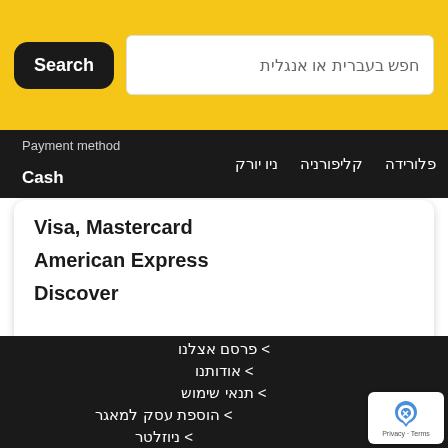Search | חפש בעברית או אנגלית
Payment method | Cash | פלורידה | קליפורניה | ניו יורק
Visa, Mastercard
American Express
Discover
> פרסם אצלנו
> אודותנו
> תנאי שימוש
> הוספת עסק למאגר
> ניוזלטר